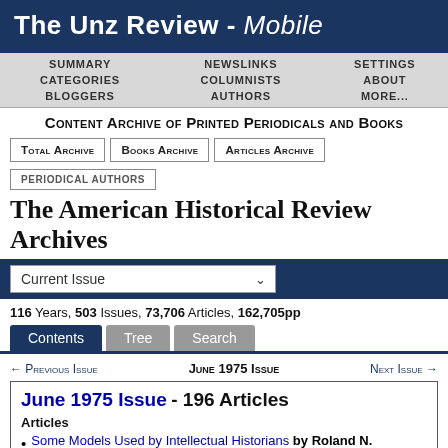The Unz Review - Mobile
SUMMARY  NEWSLINKS  SETTINGS  CATEGORIES  COLUMNISTS  ABOUT  BLOGGERS  AUTHORS  MORE...
Content Archive of Printed Periodicals and Books
Total Archive  Books Archive  Articles Archive
PERIODICAL AUTHORS
The American Historical Review Archives
Current Issue
116 Years, 503 Issues, 73,706 Articles, 162,705pp
Contents  Tree  Search
← Previous Issue   June 1975 Issue   Next Issue →
June 1975 Issue - 196 Articles
Articles
• Some Models Used by Intellectual Historians by Roland N.